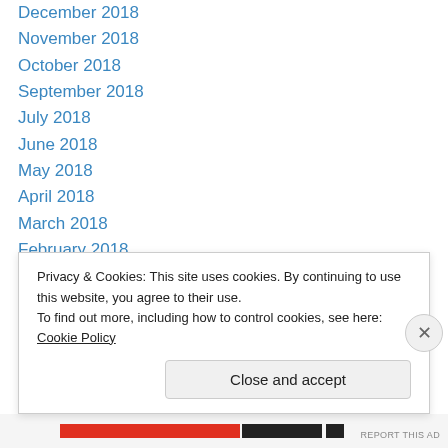December 2018
November 2018
October 2018
September 2018
July 2018
June 2018
May 2018
April 2018
March 2018
February 2018
January 2018
December 2017
November 2017
October 2017
Privacy & Cookies: This site uses cookies. By continuing to use this website, you agree to their use.
To find out more, including how to control cookies, see here: Cookie Policy
Close and accept